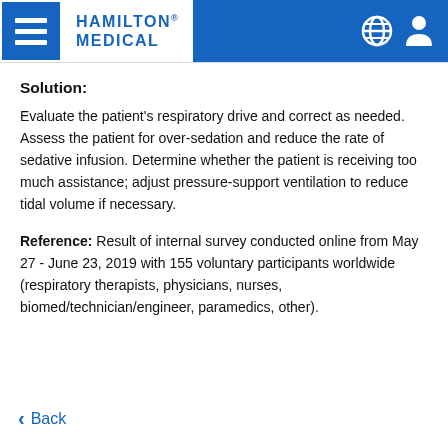HAMILTON MEDICAL
Solution:
Evaluate the patient's respiratory drive and correct as needed. Assess the patient for over-sedation and reduce the rate of sedative infusion. Determine whether the patient is receiving too much assistance; adjust pressure-support ventilation to reduce tidal volume if necessary.
Reference: Result of internal survey conducted online from May 27 - June 23, 2019 with 155 voluntary participants worldwide (respiratory therapists, physicians, nurses, biomed/technician/engineer, paramedics, other).
Back